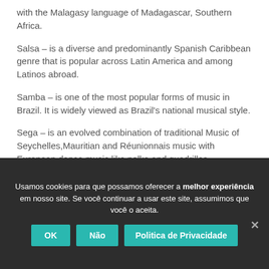with the Malagasy language of Madagascar, Southern Africa.
Salsa – is a diverse and predominantly Spanish Caribbean genre that is popular across Latin America and among Latinos abroad.
Samba – is one of the most popular forms of music in Brazil. It is widely viewed as Brazil's national musical style.
Sega – is an evolved combination of traditional Music of Seychelles,Mauritian and Réunionnais music with European dance music like polka and quadrilles.
Seggae – is a music genre invented in the mid 1980s by the Mauritian Rasta singer, Joseph Reginald Topize who was sometimes known as Kaya, after a song title by Bob Marley. Seggae
Usamos cookies para que possamos oferecer a melhor experiência em nosso site. Se você continuar a usar este site, assumimos que você o aceita.